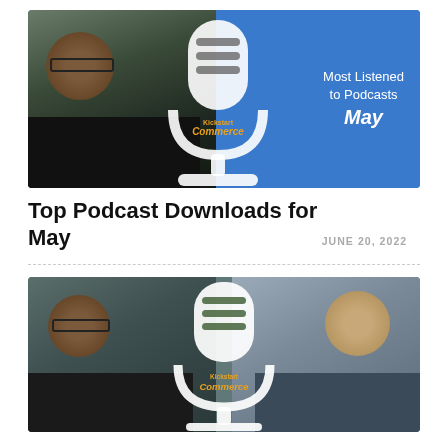[Figure (photo): Podcast thumbnail image showing a man with glasses smiling, a white microphone graphic, Kickstart Commerce logo, text reading 'Most Listened to Podcasts May' on blue background]
Top Podcast Downloads for May
JUNE 20, 2022
[Figure (photo): Podcast episode thumbnail showing two men — one with glasses on left, one bald on right — with a white microphone graphic and Kickstart Commerce logo overlaid in the center, on a teal/grey background]